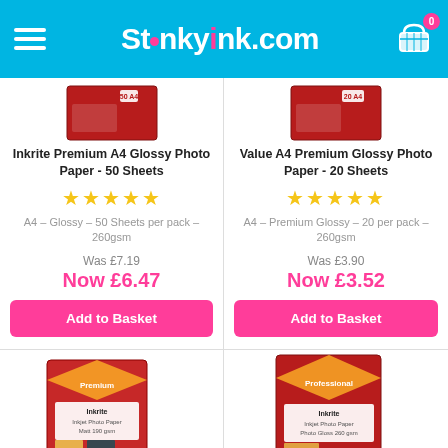StinkyInk.com
Inkrite Premium A4 Glossy Photo Paper - 50 Sheets
★★★★★
A4 – Glossy – 50 Sheets per pack – 260gsm
Was £7.19
Now £6.47
Add to Basket
Value A4 Premium Glossy Photo Paper - 20 Sheets
★★★★★
A4 – Premium Glossy – 20 per pack – 260gsm
Was £3.90
Now £3.52
Add to Basket